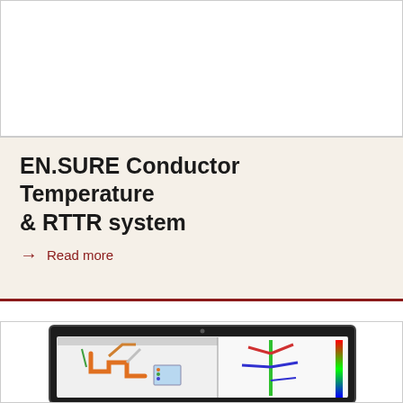[Figure (screenshot): Partial view of top card area (white background card, top portion of page)]
EN.SURE Conductor Temperature & RTTR system
→ Read more
[Figure (screenshot): Laptop screen showing engineering software with colored pipeline/conductor diagram on left panel and 3D structural model on right panel]